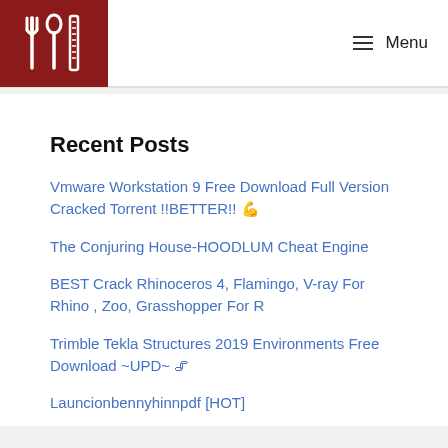Menu
Recent Posts
Vmware Workstation 9 Free Download Full Version Cracked Torrent !!BETTER!! 💪
The Conjuring House-HOODLUM Cheat Engine
BEST Crack Rhinoceros 4, Flamingo, V-ray For Rhino , Zoo, Grasshopper For R
Trimble Tekla Structures 2019 Environments Free Download ~UPD~ 🖇
Launcionbennyhinnpdf [HOT]